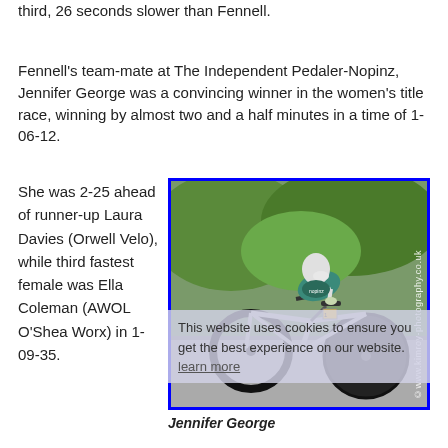third, 26 seconds slower than Fennell.
Fennell's team-mate at The Independent Pedaler-Nopinz, Jennifer George was a convincing winner in the women's title race, winning by almost two and a half minutes in a time of 1-06-12.
She was 2-25 ahead of runner-up Laura Davies (Orwell Velo), while third fastest female was Ella Coleman (AWOL O'Shea Worx) in 1-09-35.
[Figure (photo): A cyclist in an aerodynamic position on a time trial bike, wearing teal and white kit with a Nopinz logo, white aero helmet, on a road. Photo watermark: ©www.kimroy-photography.co.uk]
Jennifer George